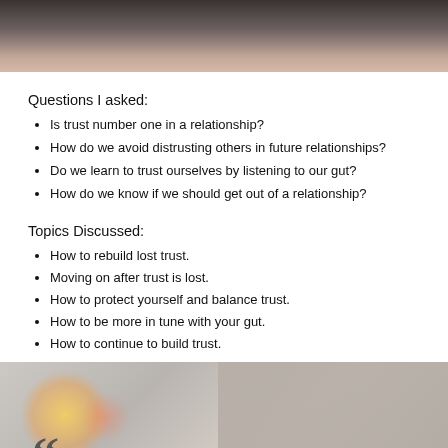[Figure (photo): Top cropped photo of a person with dark hair, partial view]
Questions I asked:
Is trust number one in a relationship?
How do we avoid distrusting others in future relationships?
Do we learn to trust ourselves by listening to our gut?
How do we know if we should get out of a relationship?
Topics Discussed:
How to rebuild lost trust.
Moving on after trust is lost.
How to protect yourself and balance trust.
How to be more in tune with your gut.
How to continue to build trust.
[Figure (photo): Bottom photo of a smiling woman with dark hair and bokeh lights in background, with large quotation mark overlay]